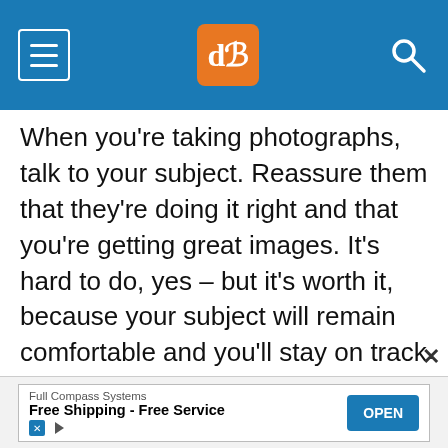dPS navigation header
When you’re taking photographs, talk to your subject. Reassure them that they’re doing it right and that you’re getting great images. It’s hard to do, yes – but it’s worth it, because your subject will remain comfortable and you’ll stay on track to get professional headshot results.
In fact, even if you’re not satisfied with the images you’re getting, continue to praise your subject. When your subject turns their head in a certain direction or when the light falls in a bad
[Figure (screenshot): Advertisement banner: Full Compass Systems - Free Shipping - Free Service with OPEN button]